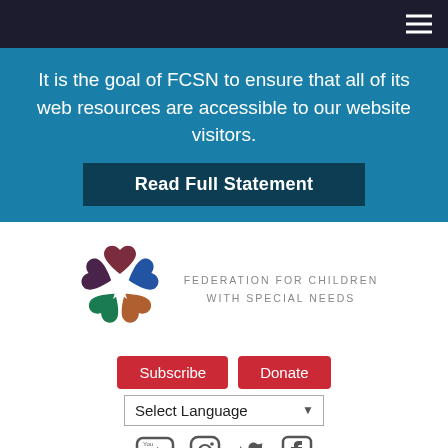Navigation bar with hamburger menu
It is the goal of FCSN to ensure that all of its web resources are accessible to our website visitors.
Read Full Statement
[Figure (logo): Federation for Children with Special Needs logo — five colored hearts arranged in a flower/star shape with a white star in the center. Colors: dark red, blue, teal/green, brown/orange, dark purple. Text to the right reads FEDERATION FOR CHILDREN WITH SPECIAL NEEDS in gray spaced caps.]
Subscribe   Donate
Select Language
[Figure (illustration): Social media icons: YouTube, Instagram, Twitter, Facebook]
Home → Programs → How to Schedule and Host a FCSN/PTIC Workshop